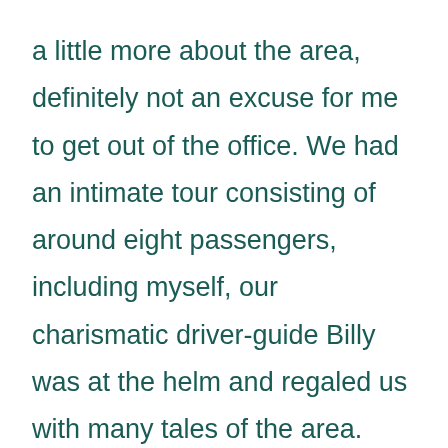a little more about the area, definitely not an excuse for me to get out of the office. We had an intimate tour consisting of around eight passengers, including myself, our charismatic driver-guide Billy was at the helm and regaled us with many tales of the area.
Starting off from Edinburgh, our St Andrews tour took a brief stop underneath the marvellous feat of engineering that is the Forth Rail Bridge for photo opportunities. The bracing wind and low temperatures meant that we didn't stay out there